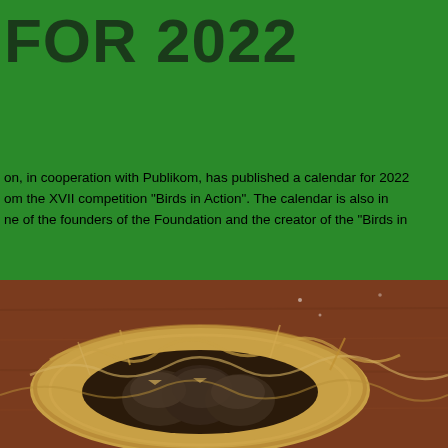FOR 2022
on, in cooperation with Publikom, has published a calendar for 2022 om the XVII competition “Birds in Action”. The calendar is also in ne of the founders of the Foundation and the creator of the “Birds in
[Figure (photo): Close-up photograph of baby birds in a nest, viewed from above. The nest is made of straw/grass and sits against a reddish-brown wooden surface. The chicks are visible huddled together inside the round nest opening.]